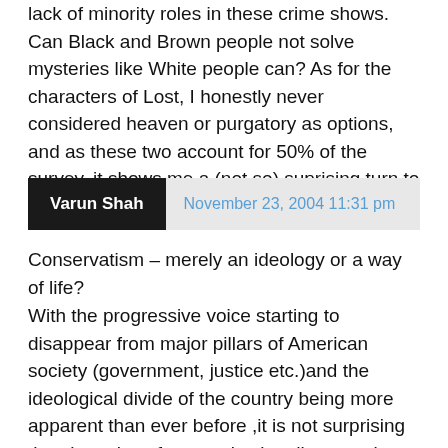lack of minority roles in these crime shows. Can Black and Brown people not solve mysteries like White people can? As for the characters of Lost, I honestly never considered heaven or purgatory as options, and as these two account for 50% of the survey, it shows me a (not so) suprising turn to the right.
Varun Shah   November 23, 2004 11:31 pm
Conservatism – merely an ideology or a way of life?
With the progressive voice starting to disappear from major pillars of American society (government, justice etc.)and the ideological divide of the country being more apparent than ever before ,it is not surprising that the voice of reason is also disappearing from prime time television.As networks increasingly turn to God and the supernatural , they are only reflecting the desires of millions of Americans who value theology, faith and